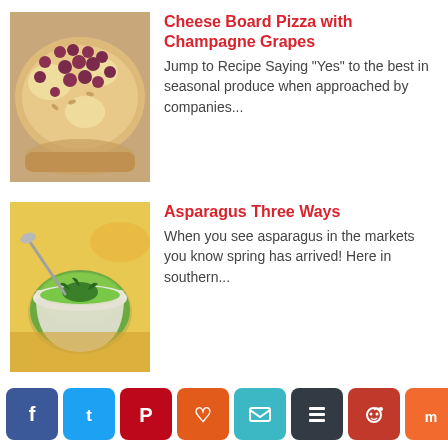[Figure (photo): Cheese board pizza with champagne grapes - close-up of flatbread topped with grapes and white cheese]
Cheese Board Pizza with Champagne Grapes
Jump to Recipe Saying "Yes" to the best in seasonal produce when approached by companies...
[Figure (photo): Asparagus soup in a white ramekin garnished with herbs, surrounded by vegetables]
Asparagus Three Ways
When you see asparagus in the markets you know spring has arrived!  Here in southern...
[Figure (photo): Outdoor sign for Slow Food Orange County fundraiser at Bommer Canyon, with trees in background]
Slow Food Orange County
Today, I attended the Slow Food Orange County fundraiser in Bommer...
Social sharing buttons: Facebook, Twitter, Pinterest, Yummly, Email, Buffer, Reddit, Mix